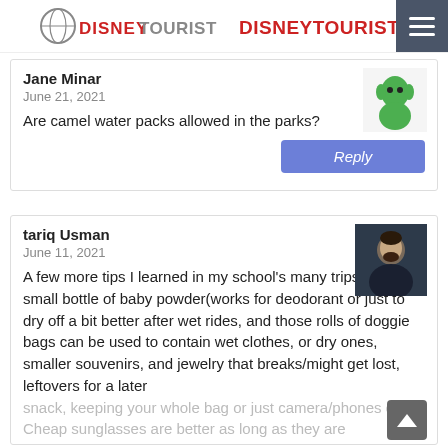DISNEYTOURISTBLOG
Jane Minar
June 21, 2021
Are camel water packs allowed in the parks?
tariq Usman
June 11, 2021
A few more tips I learned in my school's many trips to DL, a small bottle of baby powder(works for deodorant or just to dry off a bit better after wet rides, and those rolls of doggie bags can be used to contain wet clothes, or dry ones, smaller souvenirs, and jewelry that breaks/might get lost, leftovers for a later snack, keeping your whole bag or just camera/phones dry. Cheap sunglasses are better as long as they are